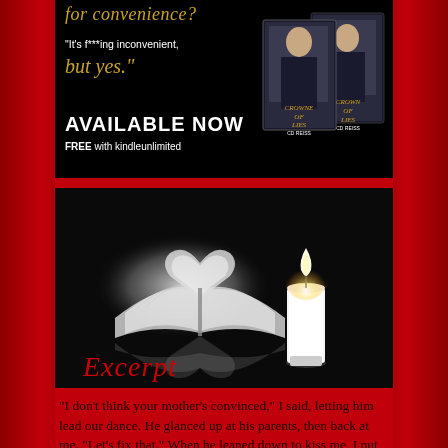[Figure (illustration): Book promotional image for 'Crown of Lies' by CD Reiss. Black background with italic gold text 'for convenience?' at top, white quote text "It's f***ing inconvenient,", gold italic 'but yes.' text, bold white 'AVAILABLE NOW' and 'FREE with kindleunlimited' text, plus two book cover images on right side showing a man in suit with 'CROWN OF LIES CD REISS' title.]
[Figure (illustration): Excerpt image: black background with a black-and-white artistic photo of an open book with pages folded into a heart shape and a lit white candle beside it. Reflection visible below. Red italic 'Excerpt' text in bottom left.]
"I don't think your mother's convinced," I said, letting him lead our dance. He glanced up at his parents, then back at me. "Let's fix that." When he leaned down to kiss me, I put